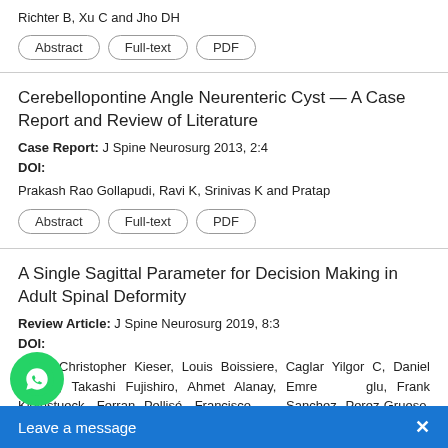Richter B, Xu C and Jho DH
Abstract | Full-text | PDF
Cerebellopontine Angle Neurenteric Cyst – A Case Report and Review of Literature
Case Report: J Spine Neurosurg 2013, 2:4
DOI:
Prakash Rao Gollapudi, Ravi K, Srinivas K and Pratap
Abstract | Full-text | PDF
A Single Sagittal Parameter for Decision Making in Adult Spinal Deformity
Review Article: J Spine Neurosurg 2019, 8:3
DOI:
David Christopher Kieser, Louis Boissiere, Caglar Yilgor C, Daniel Larrieu, Takashi Fujishiro, Ahmet Alanay, Emre Acaroglu, Frank Kleinstueck, Ferran Pellisé, Francisco Sanchez Perez-Grueso, Anouar Bourghli, Derek Cawley, Jean-Marc Vital, Olivier C